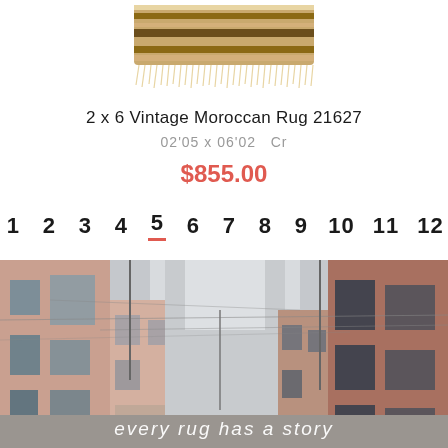[Figure (photo): Vintage Moroccan rug with fringe, viewed from above, browns and tans with striped pattern]
2 x 6 Vintage Moroccan Rug 21627
02'05 x 06'02   Cr
$855.00
1  2  3  4  5  6  7  8  9  10  11  12
[Figure (photo): Street scene in Morocco with pink and terracotta buildings, overhead wires, narrow alley perspective. Text overlay reads 'every rug has a story']